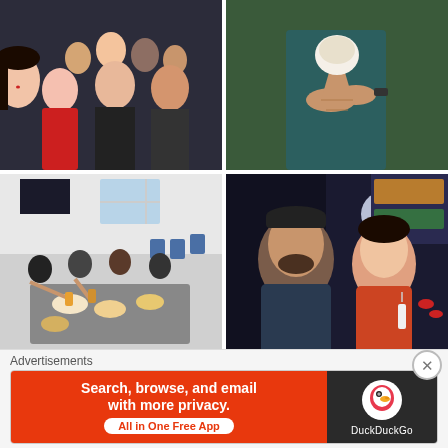[Figure (photo): Group selfie of multiple young Asian people smiling, indoor setting with dark background]
[Figure (photo): Person in dark green t-shirt holding an ice cream cone]
[Figure (photo): Group of people sitting on floor around a table with food and drinks, toasting]
[Figure (photo): Two people taking a selfie on a night street, woman holding a drink]
After some weeks, it was time for me to leave. Reality hits
Advertisements
Search, browse, and email with more privacy. All in One Free App
DuckDuckGo